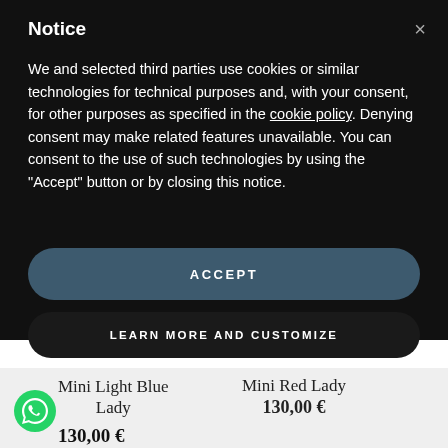Notice
We and selected third parties use cookies or similar technologies for technical purposes and, with your consent, for other purposes as specified in the cookie policy. Denying consent may make related features unavailable. You can consent to the use of such technologies by using the "Accept" button or by closing this notice.
ACCEPT
LEARN MORE AND CUSTOMIZE
Mini Light Blue Lady
Mini Red Lady
130,00 €